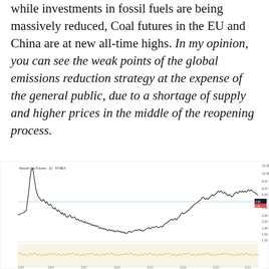while investments in fossil fuels are being massively reduced, Coal futures in the EU and China are at new all-time highs. In my opinion, you can see the weak points of the global emissions reduction strategy at the expense of the general public, due to a shortage of supply and higher prices in the middle of the reopening process.
[Figure (continuous-plot): Line chart showing Natural Gas Futures price over a long historical period. The chart shows a sharp spike to a high peak early in the timeline, followed by a long decline and trough, then a strong recovery rising to new highs at the right edge of the chart. A horizontal light blue reference line is drawn across the chart. A secondary panel at the bottom shows volume or a volatility indicator in a beige/tan color.]